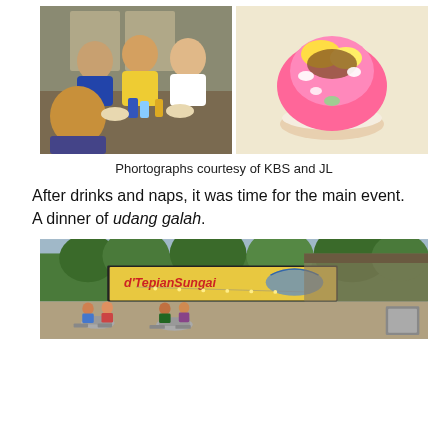[Figure (photo): Two side-by-side photos: left shows a group of people dining together at a table with food and drinks; right shows a colorful shaved ice dessert (ice kacang) in a bowl on a patterned tablecloth.]
Phortographs courtesy of KBS and JL
After drinks and naps, it was time for the main event. A dinner of udang galah.
[Figure (photo): Outdoor restaurant 'd Tepian Sungai' at dusk with string lights, patrons seated at stone tables, trees in the background and a large banner sign.]